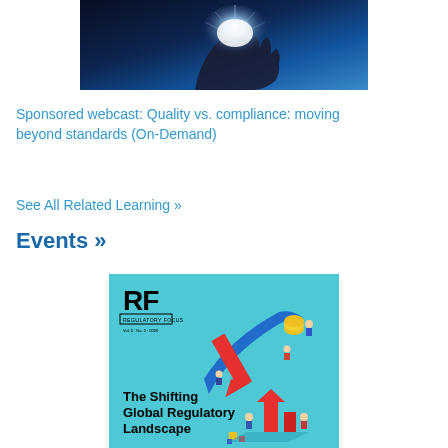[Figure (photo): A hand reaching up with a bright glowing light, dark blue background - hero image for webcast]
Sponsored webcast: Quality vs. compliance: moving beyond standards (On-Demand)
See All Related Learning »
Events »
[Figure (illustration): Regulatory Focus magazine cover showing 'The Shifting Global Regulatory Landscape' with RF logo and colorful isometric illustrations of people and financial elements on a teal background]